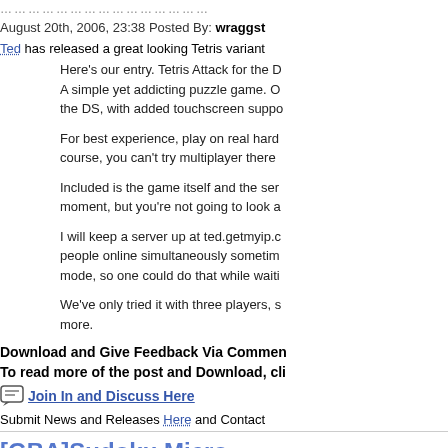……………………………………………
August 20th, 2006, 23:38 Posted By: wraggst
Ted has released a great looking Tetris variant
Here's our entry. Tetris Attack for the D A simple yet addicting puzzle game. O the DS, with added touchscreen suppo
For best experience, play on real hard course, you can't try multiplayer there
Included is the game itself and the ser moment, but you're not going to look a
I will keep a server up at ted.getmyip.c people online simultaneously sometim mode, so one could do that while waiti
We've only tried it with three players, s more.
Download and Give Feedback Via Commen
To read more of the post and Download, cli
Join In and Discuss Here
Submit News and Releases Here and Contact
[GBA]Sudoku Micro
August 20th, 2006, 23:45 Posted By: wraggst